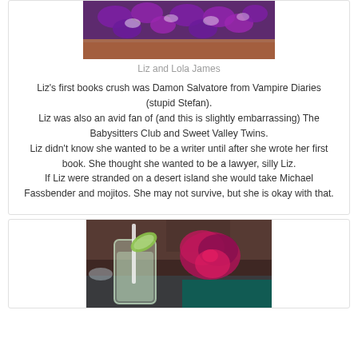[Figure (photo): Photo of Liz and Lola James, showing purple flowers/lei, cropped at top]
Liz and Lola James
Liz’s first books crush was Damon Salvatore from Vampire Diaries (stupid Stefan).
Liz was also an avid fan of (and this is slightly embarrassing) The Babysitters Club and Sweet Valley Twins.
Liz didn’t know she wanted to be a writer until after she wrote her first book. She thought she wanted to be a lawyer, silly Liz.
If Liz were stranded on a desert island she would take Michael Fassbender and mojitos. She may not survive, but she is okay with that.
[Figure (photo): Photo of a cocktail (mojito) in a glass with a lime wedge, straw, and purple orchid flower decoration, on a table]